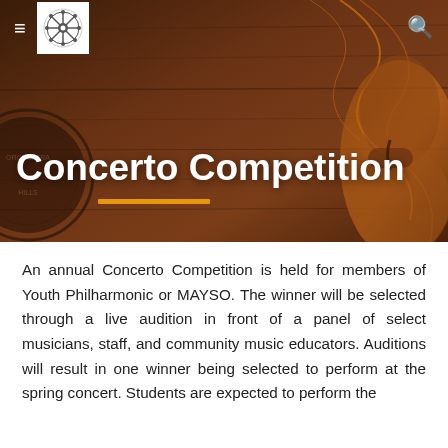[Figure (photo): Hero banner with dark brown wooden violin/instrument background with warm orange accent swirl lines. Navigation bar at top with hamburger menu, logo (wheel/cog in circle), and search icon.]
Concerto Competition
An annual Concerto Competition is held for members of Youth Philharmonic or MAYSO. The winner will be selected through a live audition in front of a panel of select musicians, staff, and community music educators. Auditions will result in one winner being selected to perform at the spring concert. Students are expected to perform the